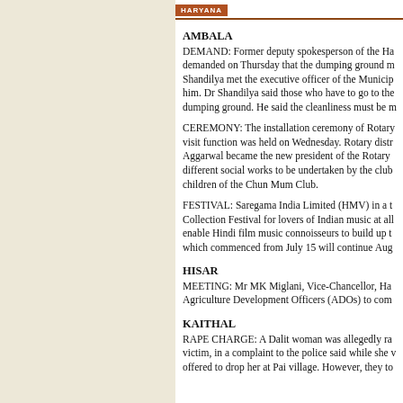HARYANA
AMBALA
DEMAND: Former deputy spokesperson of the Haryana demanded on Thursday that the dumping ground must be cleared. Dr Shandilya met the executive officer of the Municipality and presented him. Dr Shandilya said those who have to go to the hospital cross the dumping ground. He said the cleanliness must be maintained.
CEREMONY: The installation ceremony of Rotary Club with visit function was held on Wednesday. Rotary district governor Aggarwal became the new president of the Rotary Club and discussed different social works to be undertaken by the club and entertainment for children of the Chun Mum Club.
FESTIVAL: Saregama India Limited (HMV) in a tie-up organised Collection Festival for lovers of Indian music at all their stores to enable Hindi film music connoisseurs to build up their collection, which commenced from July 15 will continue Aug.
HISAR
MEETING: Mr MK Miglani, Vice-Chancellor, Haryana Agriculture Development Officers (ADOs) to com.
KAITHAL
RAPE CHARGE: A Dalit woman was allegedly raped. The victim, in a complaint to the police said while she was going they offered to drop her at Pai village. However, they took her and offered to drop her under Section 376 of the IPC.